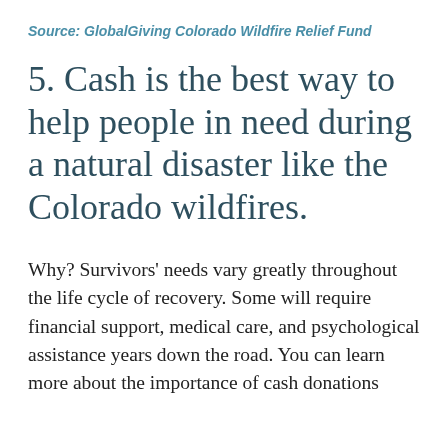Source: GlobalGiving Colorado Wildfire Relief Fund
5. Cash is the best way to help people in need during a natural disaster like the Colorado wildfires.
Why? Survivors' needs vary greatly throughout the life cycle of recovery. Some will require financial support, medical care, and psychological assistance years down the road. You can learn more about the importance of cash donations